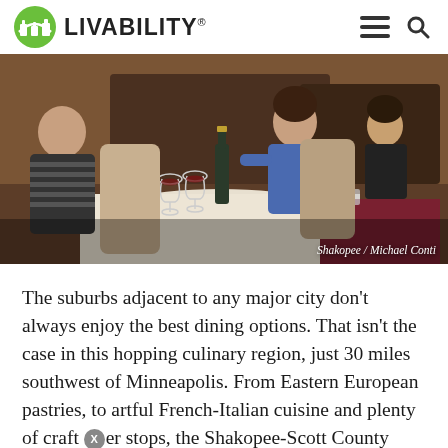LIVABILITY
[Figure (photo): Two people dining at a restaurant table with wine glasses and a wine bottle; a third person visible in background at another table. Photo credit: Shakopee / Michael Conti]
Shakopee / Michael Conti
The suburbs adjacent to any major city don't always enjoy the best dining options. That isn't the case in this hopping culinary region, just 30 miles southwest of Minneapolis. From Eastern European pastries, to artful French-Italian cuisine and plenty of craft beer stops, the Shakopee-Scott County region has options to satisfy any appetite.